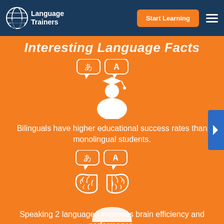[Figure (logo): Language Trainers logo with globe and speech bubble icon]
Start Learning
Interesting Language Facts
[Figure (illustration): White icon of a graduate student with two speech bubbles showing Japanese character and letter A]
Bilinguals have higher educational success rates than monolingual students.
[Figure (illustration): White icon of a brain with two speech bubbles showing Japanese character and letter A]
Speaking 2 languages improves brain efficiency and performance.
[Figure (illustration): Partial white icon at bottom of page]